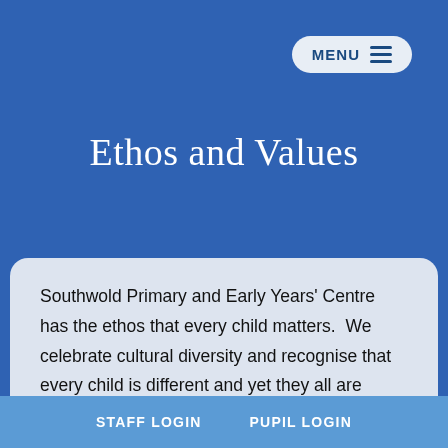[Figure (screenshot): Menu button with hamburger icon in top right corner]
Ethos and Values
Southwold Primary and Early Years' Centre has the ethos that every child matters.  We celebrate cultural diversity and recognise that every child is different and yet they all are entitled to a meaningful, visual, aspirational, broad and balanced curriculum.
STAFF LOGIN   PUPIL LOGIN